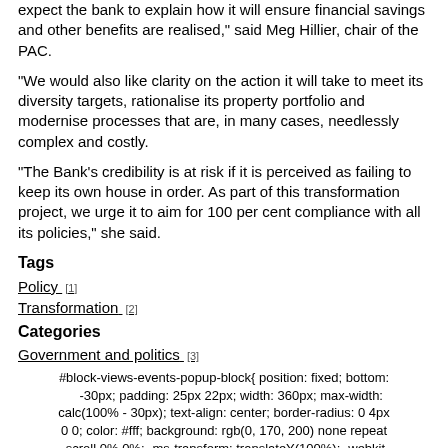expect the bank to explain how it will ensure financial savings and other benefits are realised," said Meg Hillier, chair of the PAC.
“We would also like clarity on the action it will take to meet its diversity targets, rationalise its property portfolio and modernise processes that are, in many cases, needlessly complex and costly.
“The Bank’s credibility is at risk if it is perceived as failing to keep its own house in order. As part of this transformation project, we urge it to aim for 100 per cent compliance with all its policies,” she said.
Tags
Policy [1]
Transformation [2]
Categories
Government and politics [3]
#block-views-events-popup-block{ position: fixed; bottom: -30px; padding: 25px 22px; width: 360px; max-width: calc(100% - 30px); text-align: center; border-radius: 0 4px 0 0; color: #fff; background: rgb(0, 170, 200) none repeat scroll 0% 0%; -ms-transform: translateY(100%); -webkit-transform: translateY(100%); transform: translateY(100%); -webkit-transition: all .35s ease-in-out; transition: all .35s